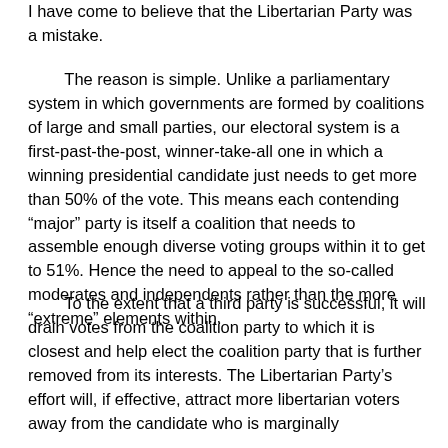I have come to believe that the Libertarian Party was a mistake.
The reason is simple. Unlike a parliamentary system in which governments are formed by coalitions of large and small parties, our electoral system is a first-past-the-post, winner-take-all one in which a winning presidential candidate just needs to get more than 50% of the vote. This means each contending “major” party is itself a coalition that needs to assemble enough diverse voting groups within it to get to 51%. Hence the need to appeal to the so-called moderates and independents rather than the more “extreme” elements within.
To the extent that a third party is successful, it will drain votes from the coalition party to which it is closest and help elect the coalition party that is further removed from its interests. The Libertarian Party’s effort will, if effective, attract more libertarian voters away from the candidate who is marginally